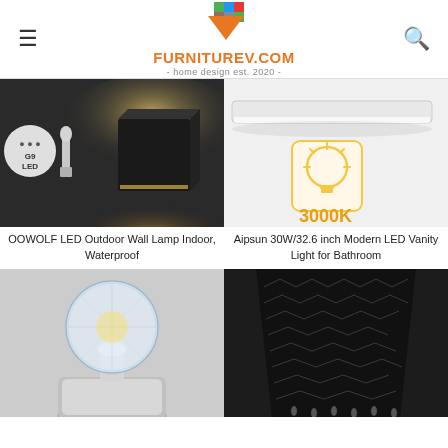FURNITUREV.COM - home design est. 2020 -
[Figure (photo): Black cube LED outdoor wall lamp mounted on wall with warm light glow, with G9 LED bulb beside it]
[Figure (photo): White linear LED vanity bar light with gold light bulb icon badge showing 3000K color temperature]
OOWOLF LED Outdoor Wall Lamp Indoor, Waterproof
Aipsun 30W/32.6 inch Modern LED Vanity Light for Bathroom
[Figure (photo): Chrome wall sconce with crystal glass globe light fixture]
[Figure (photo): Black decorative lamp shade with chevron crystal beaded pattern]